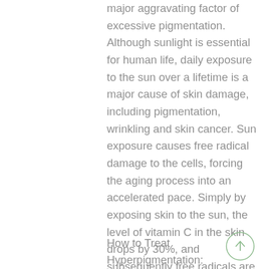major aggravating factor of excessive pigmentation. Although sunlight is essential for human life, daily exposure to the sun over a lifetime is a major cause of skin damage, including pigmentation, wrinkling and skin cancer. Sun exposure causes free radical damage to the cells, forcing the aging process into an accelerated pace. Simply by exposing skin to the sun, the level of vitamin C in the skin drops by 30%, and subsequently free radicals are formed. In addition, UVR inactivates the vitamin A receptors. Vitamin A is required for cell replication. Free radicals cause abnormal melanin production and impaired DNA/cell replication.
How to Treat Hyperpigmentation:
[Figure (other): Circular up-arrow navigation button with green outline]